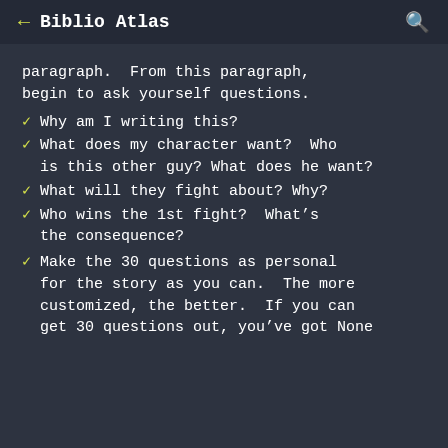← Biblio Atlas 🔍
paragraph.  From this paragraph, begin to ask yourself questions.
✓ Why am I writing this?
✓ What does my character want?  Who is this other guy? What does he want?
✓ What will they fight about? Why?
✓ Who wins the 1st fight?  What's the consequence?
✓ Make the 30 questions as personal for the story as you can.  The more customized, the better.  If you can get 30 questions out, you've got None